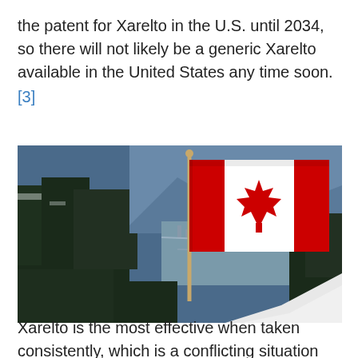the patent for Xarelto in the U.S. until 2034, so there will not likely be a generic Xarelto available in the United States any time soon. [3]
[Figure (photo): A Canadian flag on a flagpole waving in the foreground, with a mountainous forested landscape and a town/valley visible in the background.]
Xarelto is the most effective when taken consistently, which is a conflicting situation